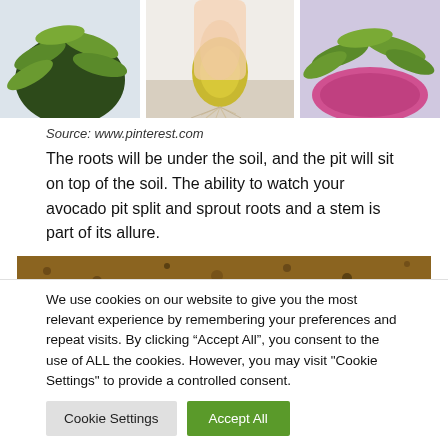[Figure (photo): Three photos of avocado plants: a plant with green leaves on left, hands holding a sprouted avocado pit with roots in middle, avocado plant in pink pot on right]
Source: www.pinterest.com
The roots will be under the soil, and the pit will sit on top of the soil. The ability to watch your avocado pit split and sprout roots and a stem is part of its allure.
[Figure (photo): Close-up photo of dark brown soil]
We use cookies on our website to give you the most relevant experience by remembering your preferences and repeat visits. By clicking “Accept All”, you consent to the use of ALL the cookies. However, you may visit "Cookie Settings" to provide a controlled consent.